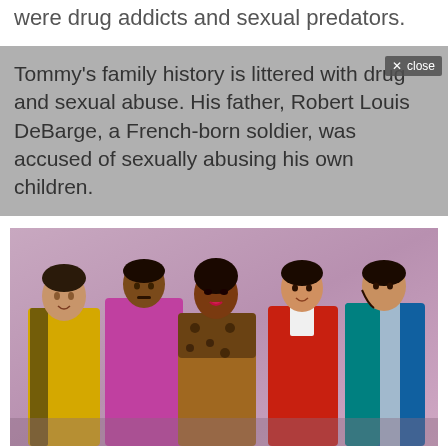were drug addicts and sexual predators.
Tommy's family history is littered with drug and sexual abuse. His father, Robert Louis DeBarge, a French-born soldier, was accused of sexually abusing his own children.
[Figure (photo): Group photo of five people (the DeBarge family music group) posing together against a purple/mauve background. From left to right: a man in a yellow tracksuit, a man in a purple/magenta satin shirt, a woman in a leopard-print outfit, a man in a red jacket, and a man in a blue and white striped jacket.]